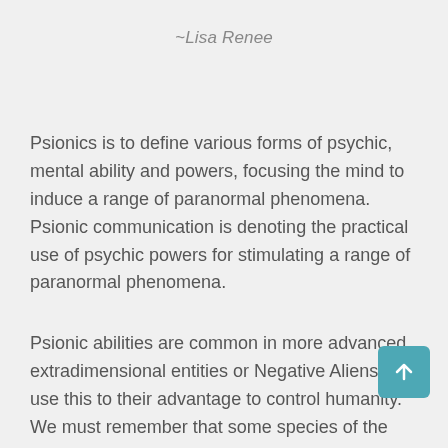~Lisa Renee
Psionics is to define various forms of psychic, mental ability and powers, focusing the mind to induce a range of paranormal phenomena. Psionic communication is denoting the practical use of psychic powers for stimulating a range of paranormal phenomena.
Psionic abilities are common in more advanced extradimensional entities or Negative Aliens, w use this to their advantage to control humanity. We must remember that some species of the Draco are multiple thousands of years old, in which that